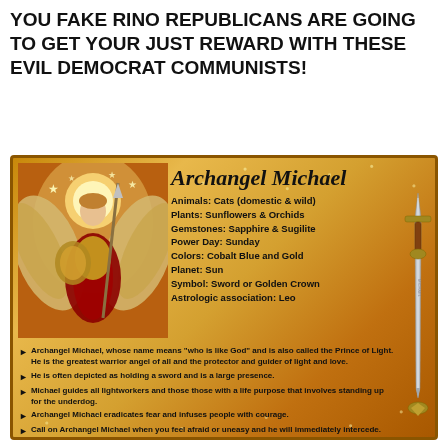YOU FAKE RINO REPUBLICANS ARE GOING TO GET YOUR JUST REWARD WITH THESE EVIL DEMOCRAT COMMUNISTS!
[Figure (infographic): Archangel Michael infographic on a golden parchment background with sparkles. Shows an illustration of Archangel Michael on the left holding a spear and shield with wings spread. Title 'Archangel Michael' in script font. Attributes listed: Animals: Cats (domestic & wild), Plants: Sunflowers & Orchids, Gemstones: Sapphire & Sugilite, Power Day: Sunday, Colors: Cobalt Blue and Gold, Planet: Sun, Symbol: Sword or Golden Crown, Astrologic association: Leo. A sword illustration on the right side. Bullet points at bottom describing Archangel Michael.]
Archangel Michael, whose name means "who is like God" and is also called the Prince of Light. He is the greatest warrior angel of all and the protector and guider of light and love.
He is often depicted as holding a sword and is a large presence.
Michael guides all lightworkers and those those with a life purpose that involves standing up for the underdog.
Archangel Michael eradicates fear and infuses people with courage.
Call on Archangel Michael when you feel afraid or uneasy and he will immediately intercede.
He can clear toxic energy from spaces and auras when asked. Archangel Michael also cuts negative etheric cords.